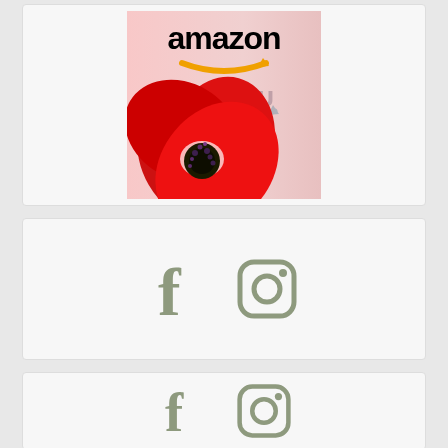[Figure (illustration): Amazon logo with red poppy flower reflected below, showing amazon text and arrow logo mirrored on a pink-white gradient background]
[Figure (illustration): Social media icons: Facebook (f) and Instagram (camera) icons in olive/sage green color]
[Figure (illustration): Social media icons: Facebook (f) and Instagram (camera) icons in olive/sage green color (partial, bottom card)]